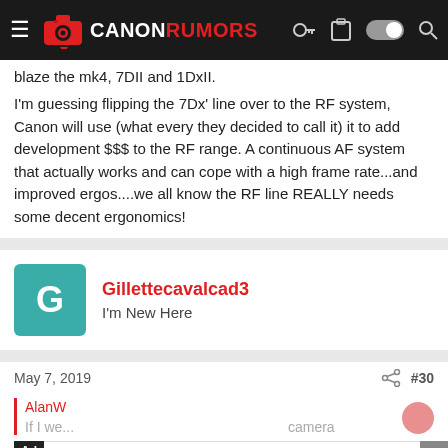Canon Rumors navigation bar
blaze the mk4, 7DII and 1DxII.
I'm guessing flipping the 7Dx' line over to the RF system, Canon will use (what every they decided to call it) it to add development $$$ to the RF range. A continuous AF system that actually works and can cope with a high frame rate...and improved ergos....we all know the RF line REALLY needs some decent ergonomics!
Gillettecavalcad3
I'm New Here
May 7, 2019
#30
[Figure (screenshot): Advertisement banner for Topgolf: 'The Perfect Family Activity' with Topgolf logo and navigation arrow icon. Shows Ad badge, close button, play and X action icons, and 'Advertisement' label at bottom.]